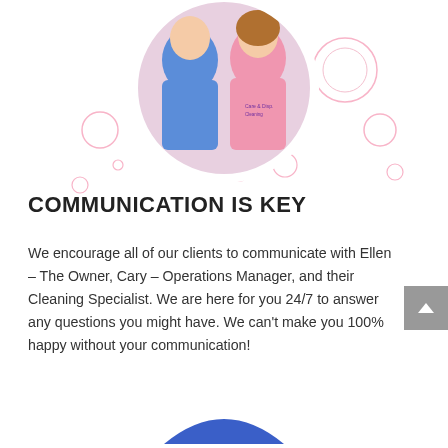[Figure (photo): Circular cropped photo of two women wearing pink and blue polo shirts, surrounded by decorative pink circle bubble outlines on a white background]
COMMUNICATION IS KEY
We encourage all of our clients to communicate with Ellen – The Owner, Cary – Operations Manager, and their Cleaning Specialist. We are here for you 24/7 to answer any questions you might have. We can't make you 100% happy without your communication!
[Figure (illustration): Partial blue circular arc/button visible at bottom center of page]